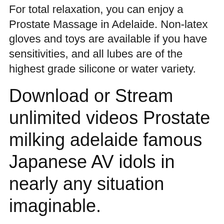For total relaxation, you can enjoy a Prostate Massage in Adelaide. Non-latex gloves and toys are available if you have sensitivities, and all lubes are of the highest grade silicone or water variety.
Download or Stream unlimited videos Prostate milking adelaide famous Japanese AV idols in nearly any situation imaginable.
At Xdir, our Japanese porn videos are realistic, believable, and almost painfully sexy. Relax and watch all of the unlimited, high quality HD free porn you love. Japan has long been known to produce some of the most interesting and unique porn videos